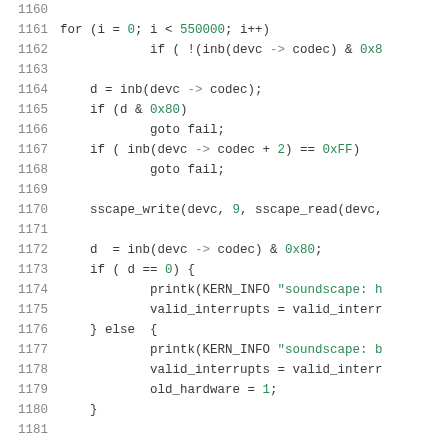[Figure (screenshot): Source code snippet showing C code for a soundscape/sscape device driver, lines 1160-1181, with syntax highlighting: line numbers in gray, keywords in dark, hex values in green, string literals in green.]